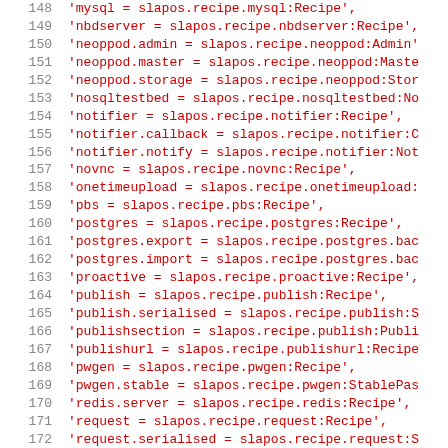Code listing lines 148-179 showing Python entry_points configuration for slapos.recipe package
148  'mysql = slapos.recipe.mysql:Recipe',
149  'nbdserver = slapos.recipe.nbdserver:Recipe',
150  'neoppod.admin = slapos.recipe.neoppod:Admin'
151  'neoppod.master = slapos.recipe.neoppod:Maste
152  'neoppod.storage = slapos.recipe.neoppod:Stor
153  'nosqltestbed = slapos.recipe.nosqltestbed:No
154  'notifier = slapos.recipe.notifier:Recipe',
155  'notifier.callback = slapos.recipe.notifier:C
156  'notifier.notify = slapos.recipe.notifier:Not
157  'novnc = slapos.recipe.novnc:Recipe',
158  'onetimeupload = slapos.recipe.onetimeupload:
159  'pbs = slapos.recipe.pbs:Recipe',
160  'postgres = slapos.recipe.postgres:Recipe',
161  'postgres.export = slapos.recipe.postgres.bac
162  'postgres.import = slapos.recipe.postgres.bac
163  'proactive = slapos.recipe.proactive:Recipe',
164  'publish = slapos.recipe.publish:Recipe',
165  'publish.serialised = slapos.recipe.publish:S
166  'publishsection = slapos.recipe.publish:Publi
167  'publishurl = slapos.recipe.publishurl:Recipe
168  'pwgen = slapos.recipe.pwgen:Recipe',
169  'pwgen.stable = slapos.recipe.pwgen:StablePas
170  'redis.server = slapos.recipe.redis:Recipe',
171  'request = slapos.recipe.request:Recipe',
172  'request.serialised = slapos.recipe.request:S
173  'request.edge = slapos.recipe.request:Request
174  'requestoptional = slapos.recipe.request:Requ
175  'reverseproxy.nginx = slapos.recipe.reverse_p
176  'seleniumrunner = slapos.recipe.seleniumrunne
177  'sheepdogtestbed = slapos.recipe.sheepdogtest
178  'shell = slapos.recipe.shell:Recipe',
179  'shellinabox = slapos.recipe.shellinabox:Re